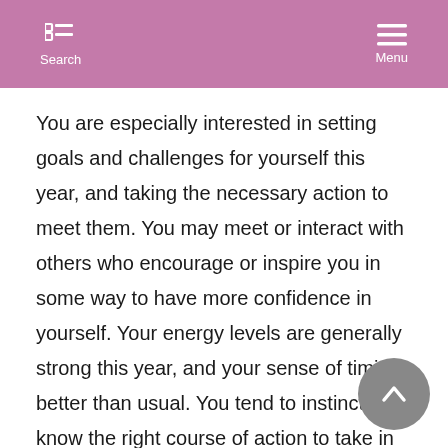Search  Menu
You are especially interested in setting goals and challenges for yourself this year, and taking the necessary action to meet them. You may meet or interact with others who encourage or inspire you in some way to have more confidence in yourself. Your energy levels are generally strong this year, and your sense of timing better than usual. You tend to instinctively know the right course of action to take in most situations. Independent work is favored and competitive activities may also thrive this year. Joie de vivre and increased energy can truly enhance your life in many ways, not only because you are more able to enjoy life this way, but also because others sense your dynamism and you are likely to attract good things to you as a result. Stress is